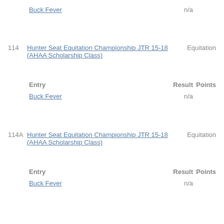Buck Fever   n/a
114   Hunter Seat Equitation Championship JTR 15-18 (AHAA Scholarship Class)   Equitation
| Entry | Result | Points |
| --- | --- | --- |
| Buck Fever | n/a |  |
114A   Hunter Seat Equitation Championship JTR 15-18 (AHAA Scholarship Class)   Equitation
| Entry | Result | Points |
| --- | --- | --- |
| Buck Fever | n/a |  |